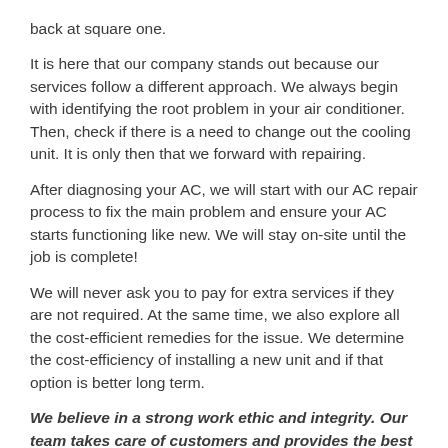back at square one.
It is here that our company stands out because our services follow a different approach. We always begin with identifying the root problem in your air conditioner. Then, check if there is a need to change out the cooling unit. It is only then that we forward with repairing.
After diagnosing your AC, we will start with our AC repair process to fix the main problem and ensure your AC starts functioning like new. We will stay on-site until the job is complete!
We will never ask you to pay for extra services if they are not required. At the same time, we also explore all the cost-efficient remedies for the issue. We determine the cost-efficiency of installing a new unit and if that option is better long term.
We believe in a strong work ethic and integrity. Our team takes care of customers and provides the best solutions possible. We always aim to restore your AC unit to the best working condition.